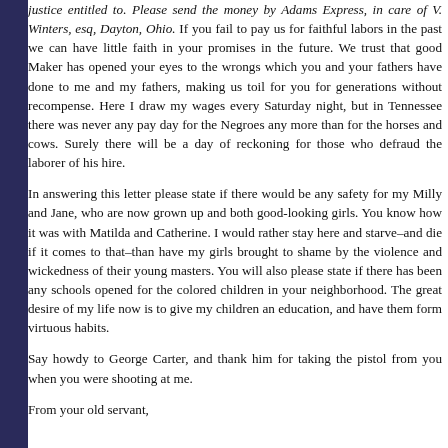justice entitled to. Please send the money by Adams Express, in care of V. Winters, esq, Dayton, Ohio. If you fail to pay us for faithful labors in the past we can have little faith in your promises in the future. We trust that good Maker has opened your eyes to the wrongs which you and your fathers have done to me and my fathers, making us toil for you for generations without recompense. Here I draw my wages every Saturday night, but in Tennessee there was never any pay day for the Negroes any more than for the horses and cows. Surely there will be a day of reckoning for those who defraud the laborer of his hire.
In answering this letter please state if there would be any safety for my Milly and Jane, who are now grown up and both good-looking girls. You know how it was with Matilda and Catherine. I would rather stay here and starve–and die if it comes to that–than have my girls brought to shame by the violence and wickedness of their young masters. You will also please state if there has been any schools opened for the colored children in your neighborhood. The great desire of my life now is to give my children an education, and have them form virtuous habits.
Say howdy to George Carter, and thank him for taking the pistol from you when you were shooting at me.
From your old servant,